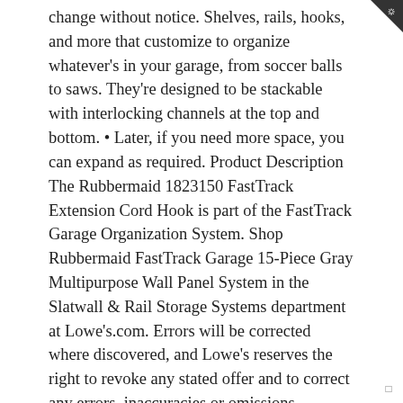change without notice. Shelves, rails, hooks, and more that customize to organize whatever's in your garage, from soccer balls to saws. They're designed to be stackable with interlocking channels at the top and bottom. • Later, if you need more space, you can expand as required. Product Description The Rubbermaid 1823150 FastTrack Extension Cord Hook is part of the FastTrack Garage Organization System. Shop Rubbermaid FastTrack Garage 15-Piece Gray Multipurpose Wall Panel System in the Slatwall & Rail Storage Systems department at Lowe's.com. Errors will be corrected where discovered, and Lowe's reserves the right to revoke any stated offer and to correct any errors, inaccuracies or omissions including after an order has been submitted. You can use just a couple of the long thin panels as a simple rail or track system or use the larger panels for full wall … … Rubbermaid FastTrack Garage Multi-Purpose Hook, Set of 3. Link to Lowe's Home Improvement Home Page. Prices, Promotions, styles, and availability may vary. Your IP: 70.32.101.237 Providing convenient and functional organization, this 15-Piece FastTrack Garage Multi-Purpose Kit is the perfect addition to your garage. Shop slatwall & rail storage systems and a variety of storage & organization products online at Lowes.com. For bulky items such as power